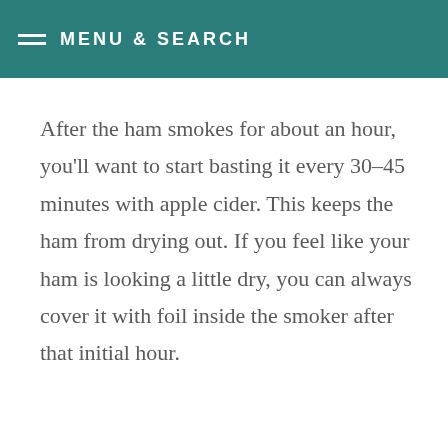MENU & SEARCH
After the ham smokes for about an hour, you'll want to start basting it every 30-45 minutes with apple cider. This keeps the ham from drying out. If you feel like your ham is looking a little dry, you can always cover it with foil inside the smoker after that initial hour.